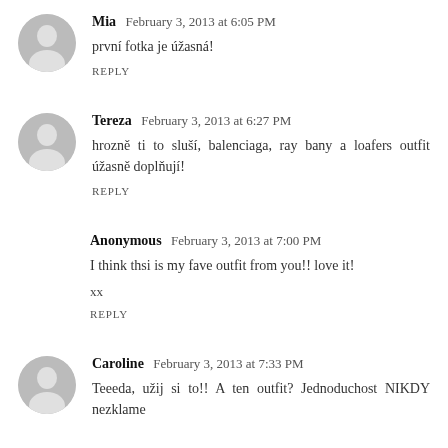Mia  February 3, 2013 at 6:05 PM
první fotka je úžasná!
REPLY
Tereza  February 3, 2013 at 6:27 PM
hrozně ti to sluší, balenciaga, ray bany a loafers outfit úžasně doplňují!
REPLY
Anonymous  February 3, 2013 at 7:00 PM
I think thsi is my fave outfit from you!! love it!
xx
REPLY
Caroline  February 3, 2013 at 7:33 PM
Teeeda, užij si to!! A ten outfit? Jednoduchost NIKDY nezklame